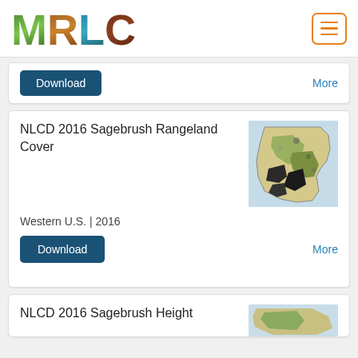[Figure (logo): MRLC logo with nature-textured letters M R L C]
Download
More
NLCD 2016 Sagebrush Rangeland Cover
[Figure (map): Map thumbnail showing Western U.S. sagebrush rangeland cover, green and black tones]
Western U.S. | 2016
Download
More
NLCD 2016 Sagebrush Height